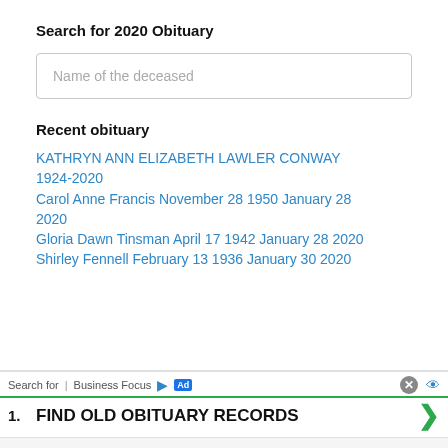Search for 2020 Obituary
Name of the deceased
Recent obituary
KATHRYN ANN ELIZABETH LAWLER CONWAY 1924-2020
Carol Anne Francis November 28 1950 January 28 2020
Gloria Dawn Tinsman April 17 1942 January 28 2020
Shirley Fennell February 13 1936 January 30 2020
Search for | Business Focus
1. FIND OLD OBITUARY RECORDS